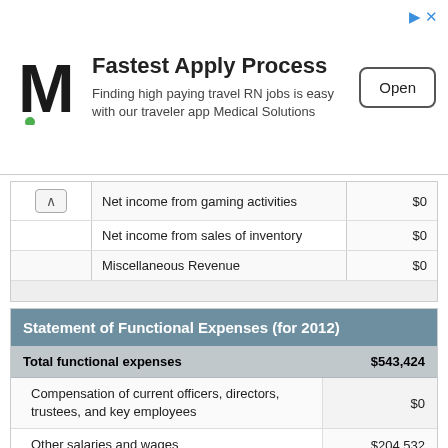[Figure (other): Advertisement banner for Medical Solutions: 'Fastest Apply Process — Finding high paying travel RN jobs is easy with our traveler app Medical Solutions' with Open button and M logo]
|  | Item | Value |
| --- | --- | --- |
| ^ | Net income from gaming activities | $0 |
|  | Net income from sales of inventory | $0 |
|  | Miscellaneous Revenue | $0 |
| Statement of Functional Expenses (for 2012) |  |
| --- | --- |
| Total functional expenses | $543,424 |
| Compensation of current officers, directors, trustees, and key employees | $0 |
| Other salaries and wages | $204,532 |
| Payroll taxes | $24,209 |
| Professional fundraising services | $0 |
| Other | $583 |